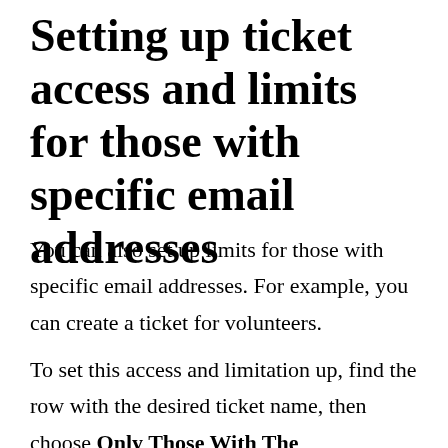Setting up ticket access and limits for those with specific email addresses
You can also set up limits for those with specific email addresses. For example, you can create a ticket for volunteers.
To set this access and limitation up, find the row with the desired ticket name, then choose Only Those With The